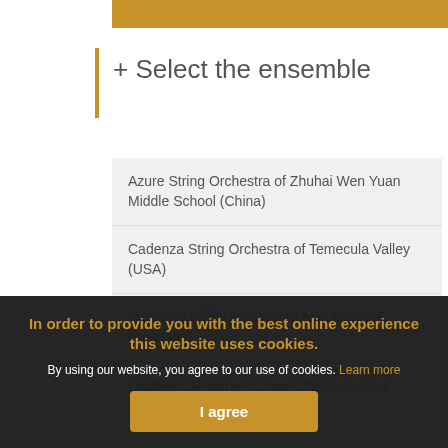+ Select the ensemble
Azure String Orchestra of Zhuhai Wen Yuan Middle School (China)
Cadenza String Orchestra of Temecula Valley (USA)
Canberra Girls Grammar School Chorale (Australia)
Caulfield Grammar School Chamber Choir (Australia)
Caulfield Grammar School Wind Ensemble (Australia)
Dunhua Junior High School String Orchestra (Taiwan)
Hsin-Chu Reco... (Taiwan)
In order to provide you with the best online experience this website uses cookies.
By using our website, you agree to our use of cookies. Learn more
I agree